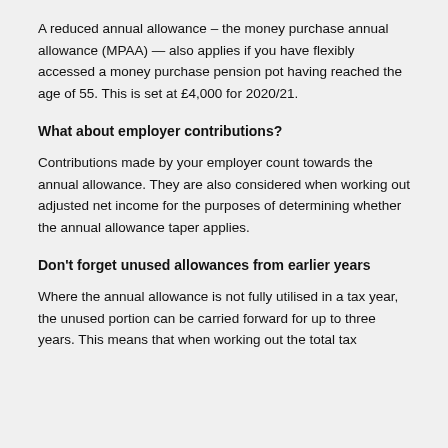A reduced annual allowance – the money purchase annual allowance (MPAA) — also applies if you have flexibly accessed a money purchase pension pot having reached the age of 55. This is set at £4,000 for 2020/21.
What about employer contributions?
Contributions made by your employer count towards the annual allowance. They are also considered when working out adjusted net income for the purposes of determining whether the annual allowance taper applies.
Don't forget unused allowances from earlier years
Where the annual allowance is not fully utilised in a tax year, the unused portion can be carried forward for up to three years. This means that when working out the total tax